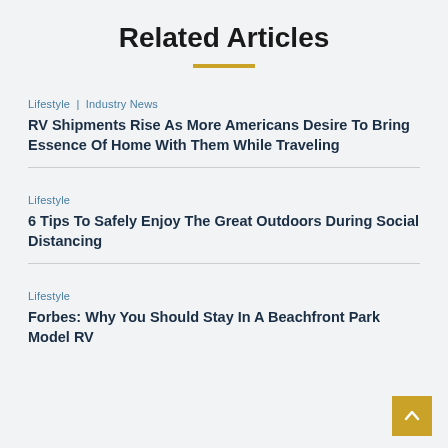Related Articles
Lifestyle | Industry News
RV Shipments Rise As More Americans Desire To Bring Essence Of Home With Them While Traveling
Lifestyle
6 Tips To Safely Enjoy The Great Outdoors During Social Distancing
Lifestyle
Forbes: Why You Should Stay In A Beachfront Park Model RV